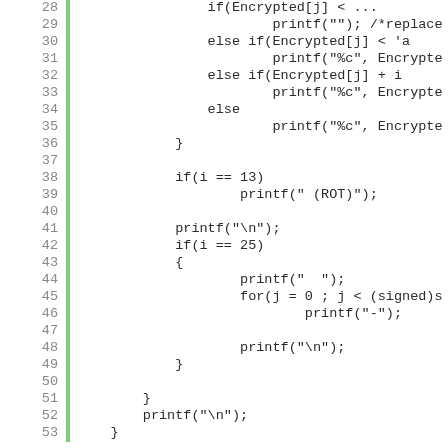[Figure (screenshot): Source code listing in C showing lines 28–53 with line numbers on the left, a green vertical bar, and monospace code on a white background.]